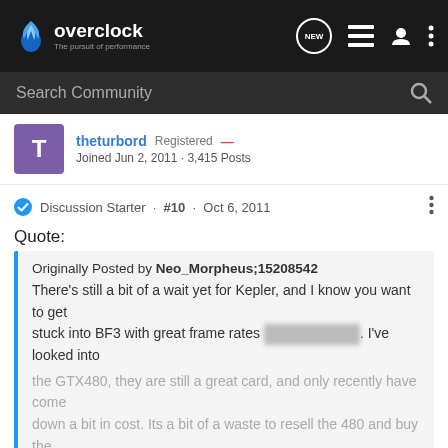[Figure (logo): Overclock.net logo with flame icon and tagline 'The pursuit of performance']
Search Community
theturbord · Registered — · Joined Jun 2, 2011 · 3,415 Posts
Discussion Starter · #10 · Oct 6, 2011
Quote:
Originally Posted by Neo_Morpheus;15208542
There's still a bit of a wait yet for Kepler, and I know you want to get stuck into BF3 with great frame rates [blurred]. I've looked into the GTX480, they are still a great card, and only recently have come down a bit in cost. Its a bit of a waste to resell the 480 and buy the [blurred] Click to expand...
how much of a waste is selling my 1 480 and getting SLI 570s?
Quote: